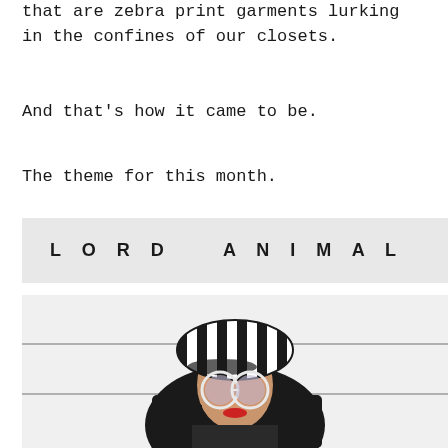that are zebra print garments lurking in the confines of our closets.
And that’s how it came to be.
The theme for this month.
LORD  ANIMAL  MEETS  LADY  NE
[Figure (photo): A woman with dark hair wearing a black and white striped beret-style hat and round white-framed sunglasses with red lipstick, photographed against a white horizontal-slat wall background.]